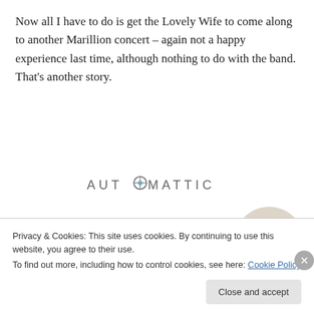Now all I have to do is get the Lovely Wife to come along to another Marillion concert – again not a happy experience last time, although nothing to do with the band. That's another story.
[Figure (logo): Automattic logo in grey uppercase sans-serif text with a compass/target icon replacing the letter O]
[Figure (infographic): Automattic job ad: headline 'Build a better web and a better world.' with a blue Apply button and a circular photo of a man thinking]
Privacy & Cookies: This site uses cookies. By continuing to use this website, you agree to their use.
To find out more, including how to control cookies, see here: Cookie Policy